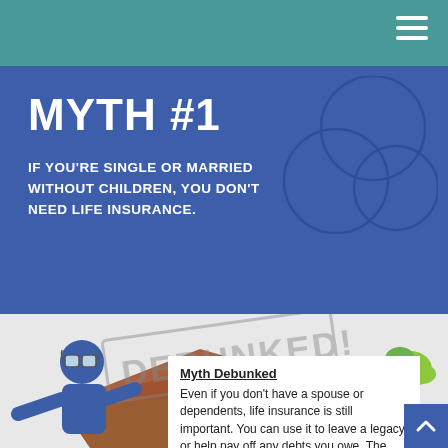MYTH #1
IF YOU'RE SINGLE OR MARRIED WITHOUT CHILDREN, YOU DON'T NEED LIFE INSURANCE.
[Figure (illustration): Blue figure character wearing goggles with arms outstretched, a 'DEBUNKED!' rubber stamp graphic on a brown envelope, and a green tree on the right side, all on a gray background.]
Myth Debunked
Even if you don't have a spouse or dependents, life insurance is still important. You can use it to leave a legacy or help pay off any debts you owe. The right life insurance policy can help protect